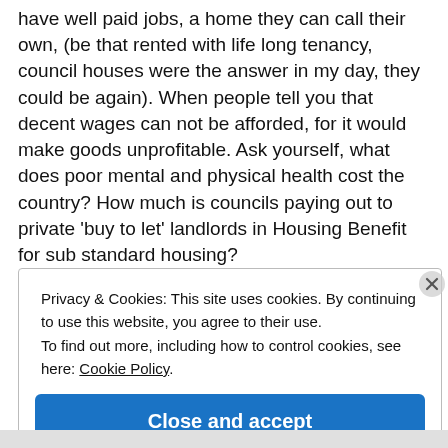have well paid jobs, a home they can call their own, (be that rented with life long tenancy, council houses were the answer in my day, they could be again). When people tell you that decent wages can not be afforded, for it would make goods unprofitable. Ask yourself, what does poor mental and physical health cost the country? How much is councils paying out to private 'buy to let' landlords in Housing Benefit for sub standard housing?
Privacy & Cookies: This site uses cookies. By continuing to use this website, you agree to their use.
To find out more, including how to control cookies, see here: Cookie Policy
Close and accept